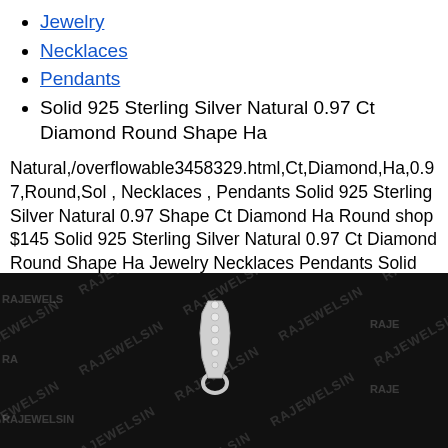Jewelry
Necklaces
Pendants
Solid 925 Sterling Silver Natural 0.97 Ct Diamond Round Shape Ha
Natural,/overflowable3458329.html,Ct,Diamond,Ha,0.97,Round,Sol , Necklaces , Pendants Solid 925 Sterling Silver Natural 0.97 Shape Ct Diamond Ha Round shop $145 Solid 925 Sterling Silver Natural 0.97 Ct Diamond Round Shape Ha Jewelry Necklaces Pendants Solid 925 Sterling Silver Natural 0.97 Shape Ct Diamond Ha Round shop Natural,/overflowable3458329.html,Ct,Diamond,Ha,0.97,Round,Sol , Necklaces , Pendants $145 Solid 925 Sterling Silver Natural 0.97 Ct Diamond Round Shape Ha Jewelry Necklaces Pendants
[Figure (photo): A silver diamond pendant on a black background with RAJEWELSIN watermark repeated diagonally across the image.]